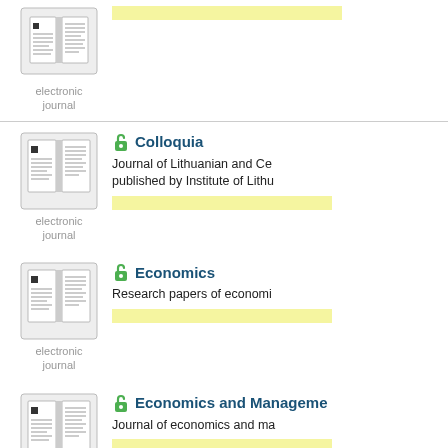[Figure (screenshot): Partial entry at top with journal icon and yellow bar (truncated)]
[Figure (screenshot): Colloquia journal entry with icon, open-access lock, title, description, and yellow bar]
[Figure (screenshot): Economics journal entry with icon, open-access lock, title, description, and yellow bar]
[Figure (screenshot): Economics and Management journal entry with icon, open-access lock, title, description, and yellow bar]
[Figure (screenshot): Economics and Management (second) journal entry with icon, open-access lock, title, description, and yellow bar (partial at bottom)]